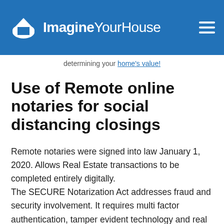ImagineYourHouse
determining your home's value!
Use of Remote online notaries for social distancing closings
Remote notaries were signed into law January 1, 2020. Allows Real Estate transactions to be completed entirely digitally.
The SECURE Notarization Act addresses fraud and security involvement. It requires multi factor authentication, tamper evident technology and real time audiovisual technology that is used so the notary and any